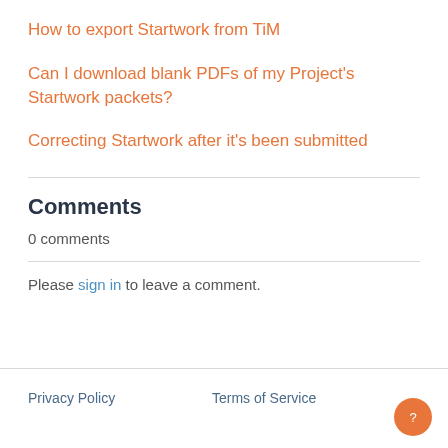How to export Startwork from TiM
Can I download blank PDFs of my Project's Startwork packets?
Correcting Startwork after it's been submitted
Comments
0 comments
Please sign in to leave a comment.
Privacy Policy   Terms of Service